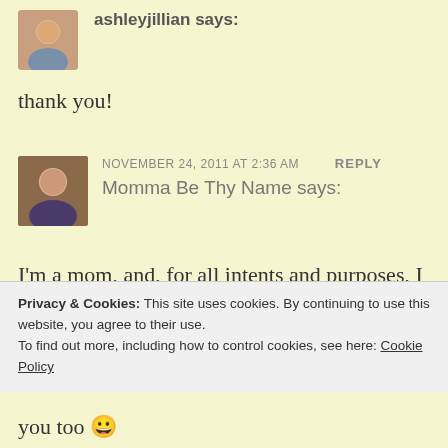[Figure (photo): Avatar of ashleyjillian user]
ashleyjillian says:
thank you!
[Figure (photo): Avatar of Momma Be Thy Name user]
NOVEMBER 24, 2011 AT 2:36 AM
REPLY
Momma Be Thy Name says:
I'm a mom, and, for all intents and purposes, I write a Mom blog. I write about my kids AND I care about grammar. Yet you read anyway. So, thank you. 😉 And
Privacy & Cookies: This site uses cookies. By continuing to use this website, you agree to their use.
To find out more, including how to control cookies, see here: Cookie Policy
Close and accept
you too 😀